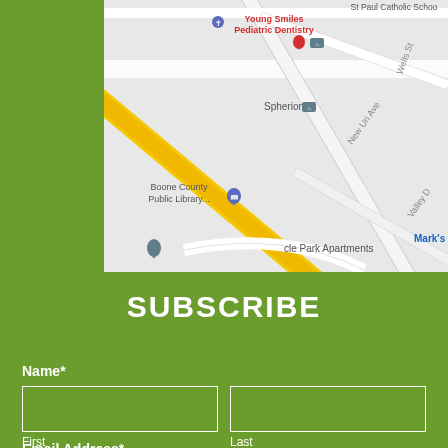[Figure (map): Google Maps screenshot showing area with Young Smiles Pediatric Dentistry, St Paul Catholic School, Spherion, Boone County Public Library, Wells St, New Uri Ave, Valley Dr, Mark's, and circle Park Apartments with map pins]
SUBSCRIBE
Name*
First
Last
Email Address*